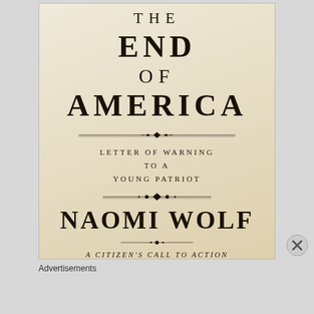[Figure (illustration): Book cover of 'The End of America: Letter of Warning to a Young Patriot' by Naomi Wolf. Cream/parchment background with large serif typography. Title in large uppercase letters, subtitle in smaller spaced caps, author name in large uppercase bold, tagline 'A Citizen's Call to Action' in italic small caps. Decorative ornamental dividers between sections.]
Advertisements